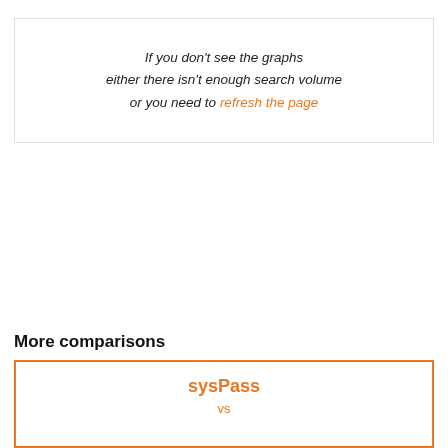If you don't see the graphs either there isn't enough search volume or you need to refresh the page
More comparisons
sysPass vs